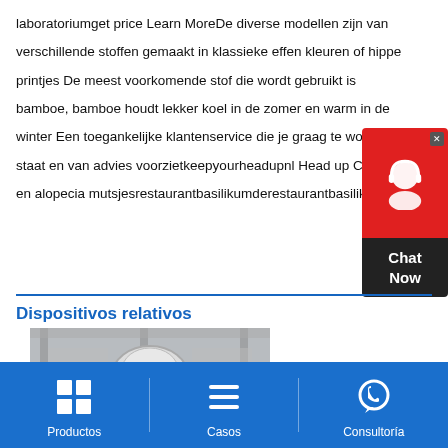laboratoriumget price Learn MoreDe diverse modellen zijn van verschillende stoffen gemaakt in klassieke effen kleuren of hippe printjes De meest voorkomende stof die wordt gebruikt is bamboe, bamboe houdt lekker koel in de zomer en warm in de winter Een toegankelijke klantenservice die je graag te woord staat en van advies voorzietkeepyourheadupnl Head up Chemo en alopecia mutsjesrestaurantbasilikumderestaurantbasilikumde
[Figure (other): Chat Now widget with red top section showing a headset/support icon and dark bottom section with Chat Now text, with a close X button]
Dispositivos relativos
[Figure (photo): Black and white photo of a warehouse or industrial interior with structural elements visible]
Productos   Casos   Consultoría